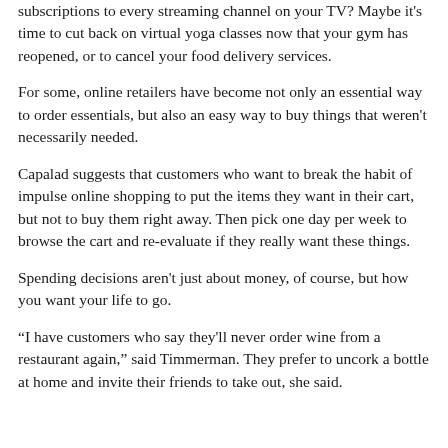subscriptions to every streaming channel on your TV? Maybe it's time to cut back on virtual yoga classes now that your gym has reopened, or to cancel your food delivery services.
For some, online retailers have become not only an essential way to order essentials, but also an easy way to buy things that weren't necessarily needed.
Capalad suggests that customers who want to break the habit of impulse online shopping to put the items they want in their cart, but not to buy them right away. Then pick one day per week to browse the cart and re-evaluate if they really want these things.
Spending decisions aren't just about money, of course, but how you want your life to go.
“I have customers who say they'll never order wine from a restaurant again,” said Timmerman. They prefer to uncork a bottle at home and invite their friends to take out, she said.